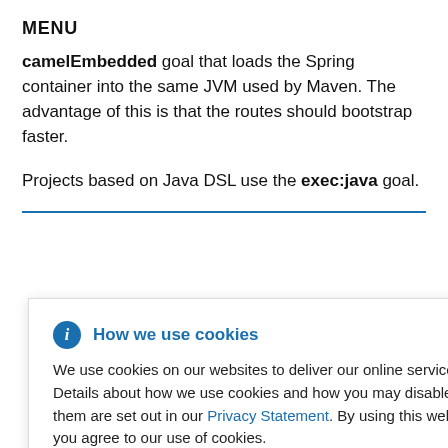MENU
camelEmbedded goal that loads the Spring container into the same JVM used by Maven. The advantage of this is that the routes should bootstrap faster.
Projects based on Java DSL use the exec:java goal.
How we use cookies
We use cookies on our websites to deliver our online services. Details about how we use cookies and how you may disable them are set out in our Privacy Statement. By using this website you agree to our use of cookies.